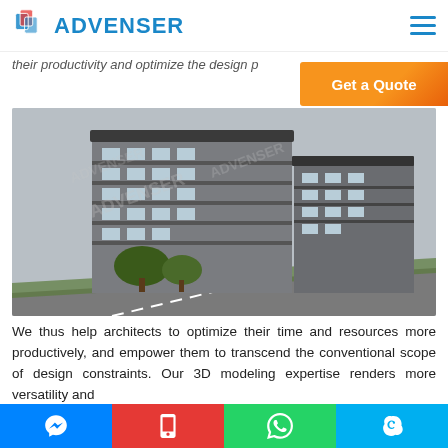ADVENSER
their productivity and optimize the design p...
[Figure (other): Get a Quote orange button]
[Figure (photo): 3D rendered architectural model of a multi-storey residential apartment building with trees and road, gray facade, multiple balconies, watermarked with ADVENSER logo]
We thus help architects to optimize their time and resources more productively, and empower them to transcend the conventional scope of design constraints. Our 3D modeling expertise renders more versatility and
Messenger | Mobile | WhatsApp | Skype